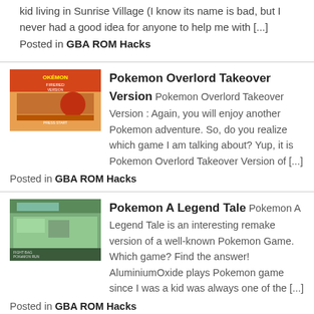kid living in Sunrise Village (I know its name is bad, but I never had a good idea for anyone to help me with [...] Posted in GBA ROM Hacks
[Figure (screenshot): Pokemon FireRed Version game screenshot thumbnail for Pokemon Overlord Takeover Version]
Pokemon Overlord Takeover Version Pokemon Overlord Takeover Version : Again, you will enjoy another Pokemon adventure. So, do you realize which game I am talking about? Yup, it is Pokemon Overlord Takeover Version of [...] Posted in GBA ROM Hacks
[Figure (screenshot): Pokemon game screenshot thumbnail for Pokemon A Legend Tale]
Pokemon A Legend Tale Pokemon A Legend Tale is an interesting remake version of a well-known Pokemon Game. Which game? Find the answer! AluminiumOxide plays Pokemon game since I was a kid was always one of the [...] Posted in GBA ROM Hacks
[Figure (screenshot): Pokemon FireRed Version game screenshot thumbnail for Pokemon Volant]
Pokemon Volant Pokemon Volant as the base for hacking, Pokemon Volant was born. With improvements